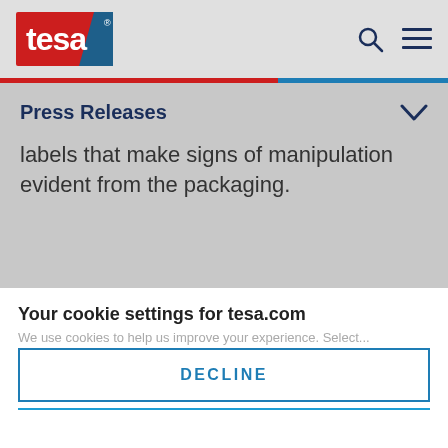tesa
Press Releases
labels that make signs of manipulation evident from the packaging.
Your cookie settings for tesa.com
DECLINE
ACCEPT
Change settings